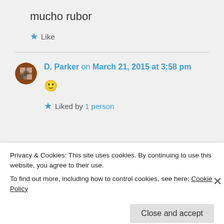mucho rubor
★ Like
D. Parker on March 21, 2015 at 3:58 pm
🙂
★ Liked by 1 person
Privacy & Cookies: This site uses cookies. By continuing to use this website, you agree to their use. To find out more, including how to control cookies, see here: Cookie Policy
Close and accept